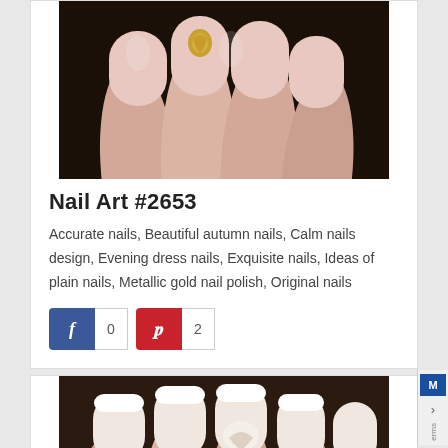[Figure (photo): Close-up photo of manicured nails painted in a muted pink/nude color with a gold decorative charm on one nail, against a dark background]
Nail Art #2653
Accurate nails, Beautiful autumn nails, Calm nails design, Evening dress nails, Exquisite nails, Ideas of plain nails, Metallic gold nail polish, Original nails
[Figure (infographic): Social share buttons: Facebook button with count 0, Pinterest button with count 2]
[Figure (photo): Close-up photo of manicured nails with French tip style and decorative nail art designs, partially visible]